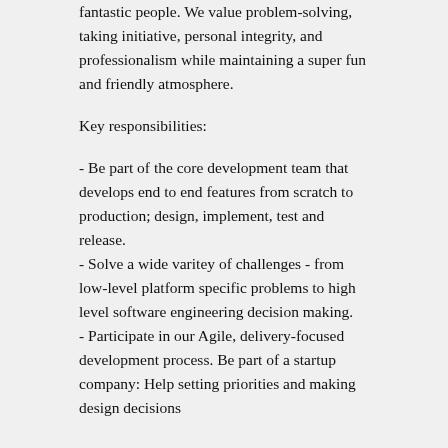fantastic people. We value problem-solving, taking initiative, personal integrity, and professionalism while maintaining a super fun and friendly atmosphere.
Key responsibilities:
- Be part of the core development team that develops end to end features from scratch to production; design, implement, test and release.
- Solve a wide varitey of challenges - from low-level platform specific problems to high level software engineering decision making.
- Participate in our Agile, delivery-focused development process. Be part of a startup company: Help setting priorities and making design decisions